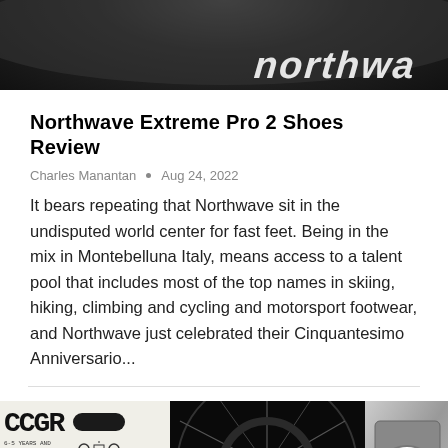[Figure (photo): Close-up black and white photo of Northwave branded cycling shoe, showing the 'northwave' logo text in white on dark background]
Northwave Extreme Pro 2 Shoes Review
Charles Manantan  •  Aug 24, 2022
It bears repeating that Northwave sit in the undisputed world center for fast feet. Being in the mix in Montebelluna Italy, means access to a talent pool that includes most of the top names in skiing, hiking, climbing and cycling and motorsport footwear, and Northwave just celebrated their Cinquantesimo Anniversario...
[Figure (photo): Bottom strip with three images: left shows a sketch/illustration with CCGR branding and cycling tools, center shows a close-up of black carbon fiber cycling wheel spokes, right shows a vintage chronograph watch face]
[Figure (photo): Scroll to top button with upward arrow in black square at bottom right]